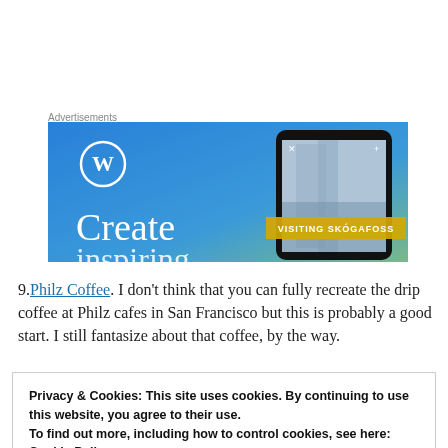Advertisements
[Figure (illustration): WordPress advertisement banner with blue-to-green gradient background, WordPress logo (W in circle), large white text 'Create' partially visible, and a smartphone showing a travel photo with text 'VISITING SKOGAFOSS']
9. Philz Coffee. I don't think that you can fully recreate the drip coffee at Philz cafes in San Francisco but this is probably a good start. I still fantasize about that coffee, by the way.
Privacy & Cookies: This site uses cookies. By continuing to use this website, you agree to their use.
To find out more, including how to control cookies, see here: Cookie Policy
11. Floral arrangements. Make it weekly, monthly or reserve it